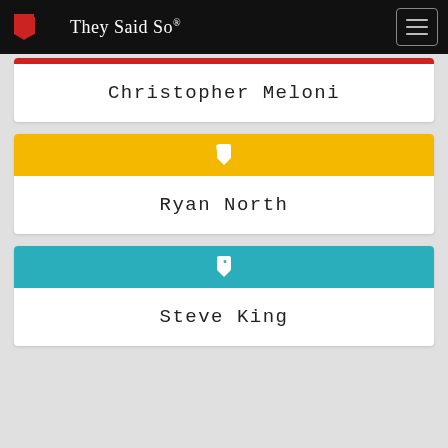They Said So®
Christopher Meloni
Ryan North
Steve King